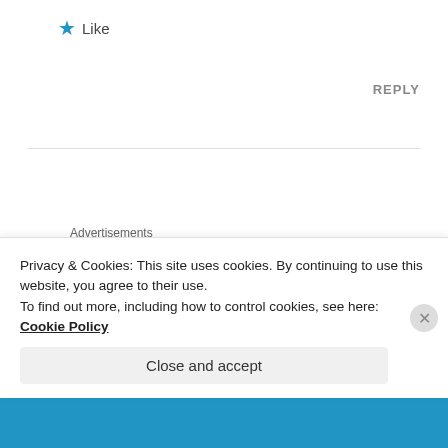★ Like
REPLY
Advertisements
[Figure (other): Pocket Casts advertisement banner: red background with text 'An app by listeners,' and 'Dis-trib-uted' in a black rotated box, Pocket Casts logo on right]
[Figure (illustration): Rose illustration avatar for user John]
John
FEBRUARY 07, 2020 AT 9:44 AM
Privacy & Cookies: This site uses cookies. By continuing to use this website, you agree to their use.
To find out more, including how to control cookies, see here:
Cookie Policy
Close and accept